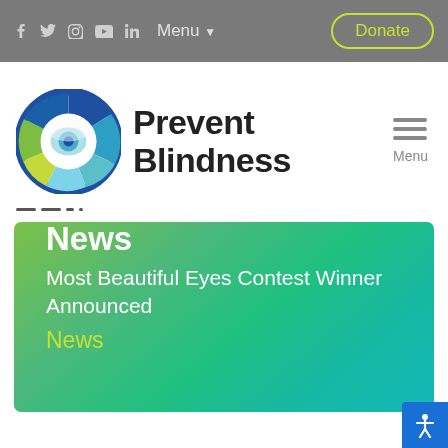f  Twitter  Instagram  YouTube  LinkedIn  Menu  Donate
[Figure (logo): Prevent Blindness circular logo with colored eye/leaf shapes in blue, teal, green, and yellow-green]
Prevent Blindness
Menu
News
Most Beautiful Eyes Contest Winner Announced
News